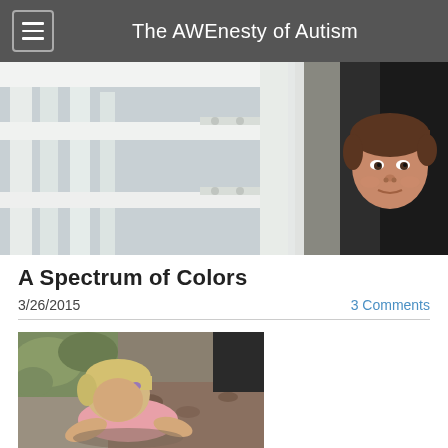The AWEnesty of Autism
[Figure (photo): Child peeking through white fence/railing boards, outdoor scene, dark background on right side]
A Spectrum of Colors
3/26/2015
3 Comments
[Figure (photo): Young toddler with blonde hair and pink shirt crawling or playing on ground outdoors, with plants and gravel visible in background]